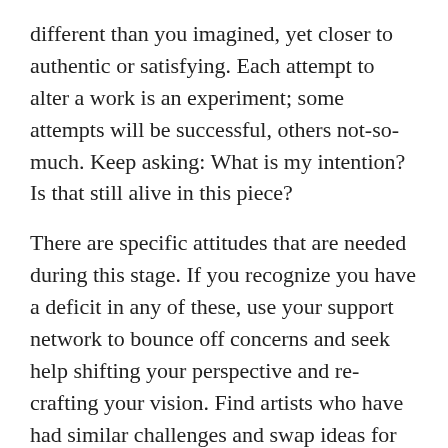different than you imagined, yet closer to authentic or satisfying.  Each attempt to alter a work is an experiment; some attempts will be successful, others not-so-much.  Keep asking: What is my intention?  Is that still alive in this piece?
There are specific attitudes that are needed during this stage.  If you recognize you have a deficit in any of these, use your support network to bounce off concerns and seek help shifting your perspective and re-crafting your vision.  Find artists who have had similar challenges and swap ideas for staying in the studio, when feeling discouraged.  Don't underestimate the value of asking an eight-year old.  Read previous postings of this blog in order to find tools from earlier stages of the creative process that might help now.  The most important skill at this point is your ability to manipulate unfamiliar forms or